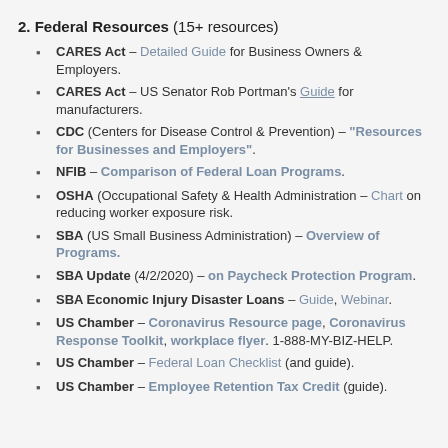2. Federal Resources (15+ resources)
CARES Act – Detailed Guide for Business Owners & Employers.
CARES Act – US Senator Rob Portman's Guide for manufacturers.
CDC (Centers for Disease Control & Prevention) – "Resources for Businesses and Employers".
NFIB – Comparison of Federal Loan Programs.
OSHA (Occupational Safety & Health Administration – Chart on reducing worker exposure risk.
SBA (US Small Business Administration) – Overview of Programs.
SBA Update (4/2/2020) – on Paycheck Protection Program.
SBA Economic Injury Disaster Loans – Guide, Webinar.
US Chamber – Coronavirus Resource page, Coronavirus Response Toolkit, workplace flyer. 1-888-MY-BIZ-HELP.
US Chamber – Federal Loan Checklist (and guide).
US Chamber – Employee Retention Tax Credit (guide).